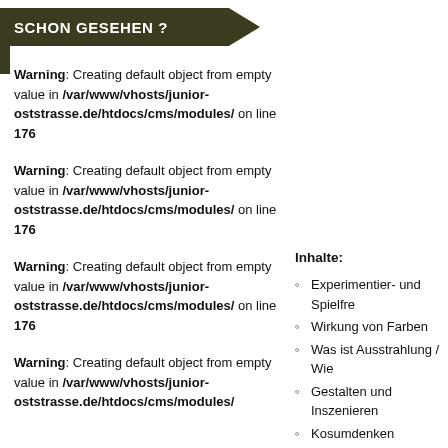SCHON GESEHEN ?
Warning: Creating default object from empty value in /var/www/vhosts/junior-oststrasse.de/htdocs/cms/modules/ on line 176
Warning: Creating default object from empty value in /var/www/vhosts/junior-oststrasse.de/htdocs/cms/modules/ on line 176
Warning: Creating default object from empty value in /var/www/vhosts/junior-oststrasse.de/htdocs/cms/modules/ on line 176
Warning: Creating default object from empty value in /var/www/vhosts/junior-oststrasse.de/htdocs/cms/modules/
Inhalte:
Experimentier- und Spielfre
Wirkung von Farben
Was ist Ausstrahlung / Wie
Gestalten und Inszenieren
Kosumdenken
Kleidercodes: Do´s und Do
Accessoires (als Signale u
Umgangsformen